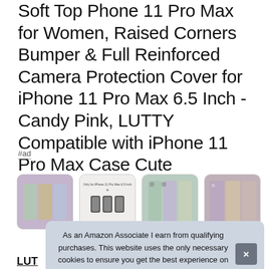Soft Top Phone 11 Pro Max for Women, Raised Corners Bumper & Full Reinforced Camera Protection Cover for iPhone 11 Pro Max 6.5 Inch -Candy Pink, LUTTY Compatible with iPhone 11 Pro Max Case Cute
#ad
[Figure (photo): Four product thumbnail images of iPhone cases in pastel colors arranged in a horizontal row]
As an Amazon Associate I earn from qualifying purchases. This website uses the only necessary cookies to ensure you get the best experience on our website. More information
LUT